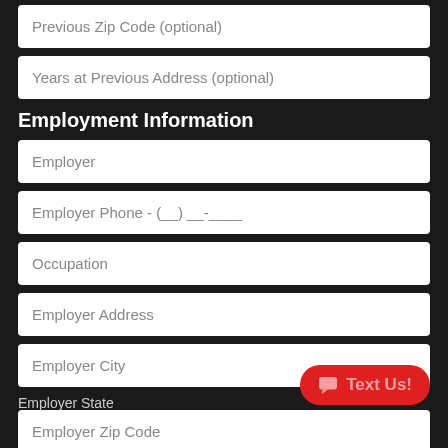Previous Zip Code (optional)
Years at Previous Address (optional)
Employment Information
Employer
Employer Phone - (__) __-____
Occupation
Employer Address
Employer City
Employer State
Please Select
[Figure (other): Red 'Text Us!' chat button with speech bubble icon]
Employer Zip Code